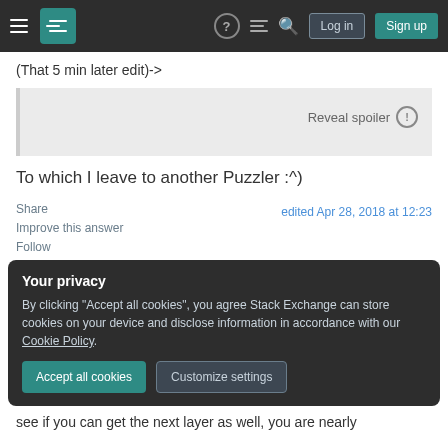Stack Exchange navigation bar with Log in and Sign up buttons
(That 5 min later edit)->
[Figure (other): Spoiler block with 'Reveal spoiler' button and exclamation icon on grey background]
To which I leave to another Puzzler :^)
Share | edited Apr 28, 2018 at 12:23 | Improve this answer | Follow
Your privacy
By clicking "Accept all cookies", you agree Stack Exchange can store cookies on your device and disclose information in accordance with our Cookie Policy.
Accept all cookies | Customize settings
see if you can get the next layer as well, you are nearly